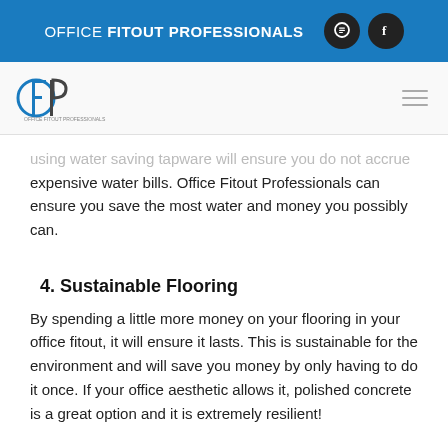OFFICE FITOUT PROFESSIONALS
[Figure (logo): OFP Office Fitout Professionals logo]
...using water saving tapware will ensure you do not accrue expensive water bills. Office Fitout Professionals can ensure you save the most water and money you possibly can.
4. Sustainable Flooring
By spending a little more money on your flooring in your office fitout, it will ensure it lasts. This is sustainable for the environment and will save you money by only having to do it once.  If your office aesthetic allows it, polished concrete is a great option and it is extremely resilient!